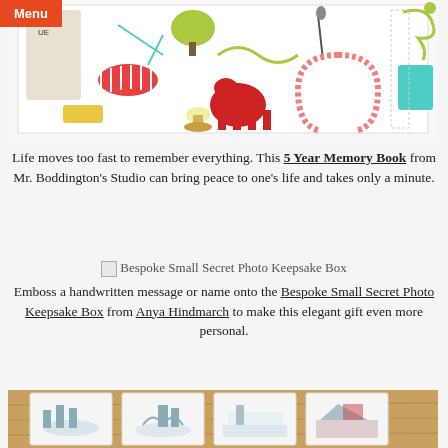[Figure (photo): Colorful illustrated book cover or notebook with whimsical drawings of animals, tools, and objects on white background]
Life moves too fast to remember everything. This 5 Year Memory Book from Mr. Boddington's Studio can bring peace to one's life and takes only a minute.
[Figure (photo): Bespoke Small Secret Photo Keepsake Box placeholder image]
Bespoke Small Secret Photo Keepsake Box
Emboss a handwritten message or name onto the Bespoke Small Secret Photo Keepsake Box from Anya Hindmarch to make this elegant gift even more personal.
[Figure (photo): Four illustrated cards showing winter landscape scenes with trees and buildings, displayed on a wooden surface]